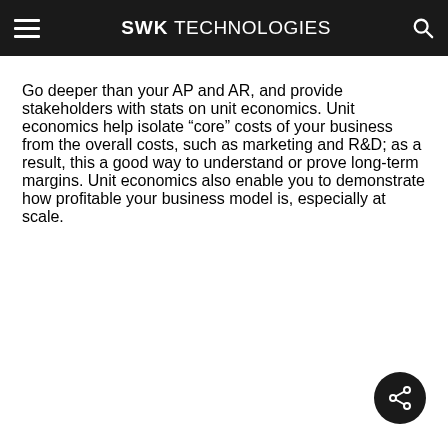SWK TECHNOLOGIES
Go deeper than your AP and AR, and provide stakeholders with stats on unit economics. Unit economics help isolate “core” costs of your business from the overall costs, such as marketing and R&D; as a result, this a good way to understand or prove long-term margins. Unit economics also enable you to demonstrate how profitable your business model is, especially at scale.